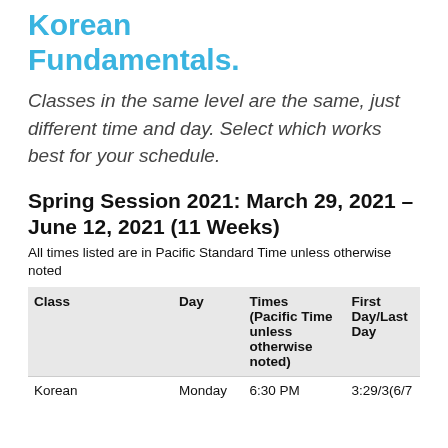Korean Fundamentals.
Classes in the same level are the same, just different time and day. Select which works best for your schedule.
Spring Session 2021: March 29, 2021 – June 12, 2021 (11 Weeks)
All times listed are in Pacific Standard Time unless otherwise noted
| Class | Day | Times (Pacific Time unless otherwise noted) | First Day/Last Day |
| --- | --- | --- | --- |
| Korean | Monday | 6:30 PM | 3:29/3(6/7 |